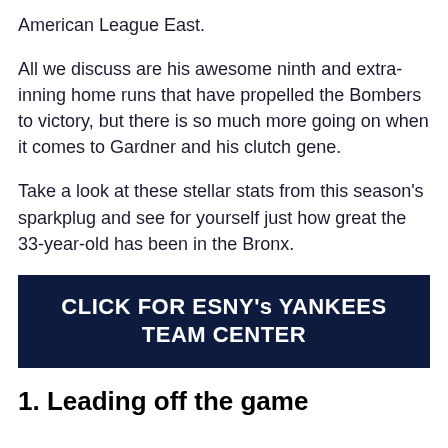American League East.
All we discuss are his awesome ninth and extra-inning home runs that have propelled the Bombers to victory, but there is so much more going on when it comes to Gardner and his clutch gene.
Take a look at these stellar stats from this season's sparkplug and see for yourself just how great the 33-year-old has been in the Bronx.
[Figure (other): Dark navy blue CTA button with white bold text: CLICK FOR ESNY's YANKEES TEAM CENTER]
1. Leading off the game